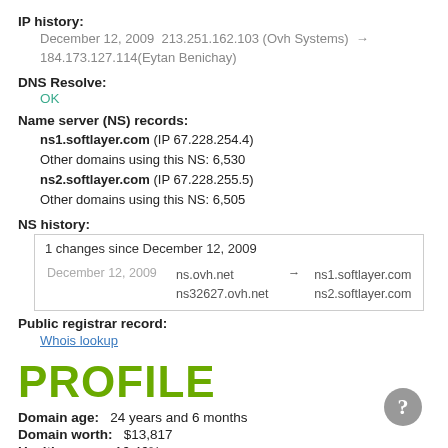IP history:
December 12, 2009 213.251.162.103 (Ovh Systems) → 184.173.127.114(Eytan Benichay)
DNS Resolve:
OK
Name server (NS) records:
ns1.softlayer.com (IP 67.228.254.4)
Other domains using this NS: 6,530
ns2.softlayer.com (IP 67.228.255.5)
Other domains using this NS: 6,505
NS history:
| Date | From |  | To |
| --- | --- | --- | --- |
| December 12, 2009 | ns.ovh.net
ns32627.ovh.net | → | ns1.softlayer.com
ns2.softlayer.com |
Public registrar record:
Whois lookup
PROFILE
Domain age:  24 years and 6 months
Domain worth:  $13,817
Health score:  16.46%